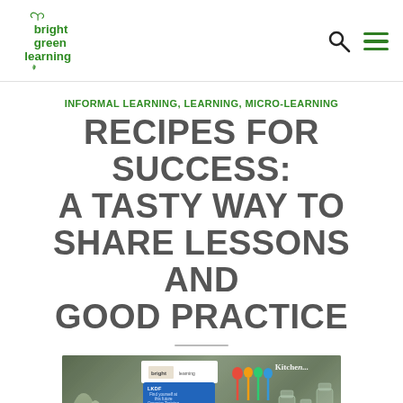bright green learning — logo with search and menu icons
INFORMAL LEARNING, LEARNING, MICRO-LEARNING
RECIPES FOR SUCCESS: A TASTY WAY TO SHARE LESSONS AND GOOD PRACTICE
[Figure (photo): Kitchen scene with glass bottles on the left, a blue LKDF card/leaflet in the center, colorful measuring spoons, and glass jars on the right with text 'Kitchen...' visible]